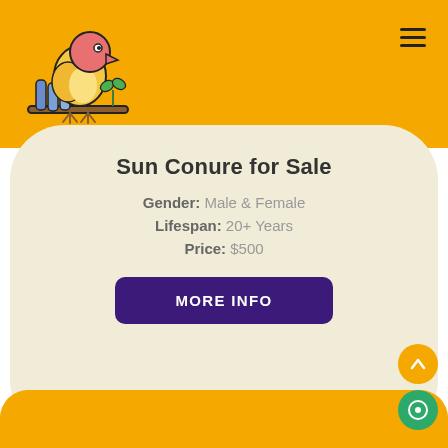[Figure (logo): Parrot bird on a branch icon in outline style with colors, on yellow/amber background]
Sun Conure for Sale
Gender: Male & Female
Lifespan: 20+ Years
Price: $500
MORE INFO